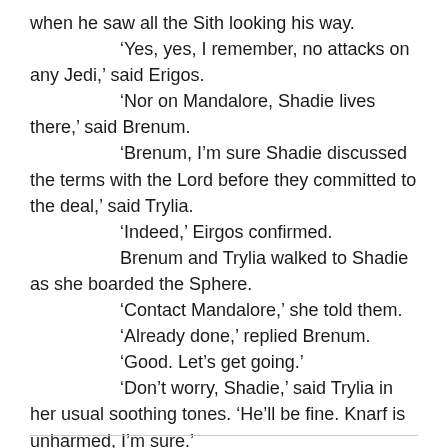when he saw all the Sith looking his way.
‘Yes, yes, I remember, no attacks on any Jedi,’ said Erigos.
‘Nor on Mandalore, Shadie lives there,’ said Brenum.
‘Brenum, I’m sure Shadie discussed the terms with the Lord before they committed to the deal,’ said Trylia.
‘Indeed,’ Eirgos confirmed.
Brenum and Trylia walked to Shadie as she boarded the Sphere.
‘Contact Mandalore,’ she told them.
‘Already done,’ replied Brenum.
‘Good. Let’s get going.’
‘Don’t worry, Shadie,’ said Trylia in her usual soothing tones. ‘He’ll be fine. Knarf is unharmed, I’m sure.’